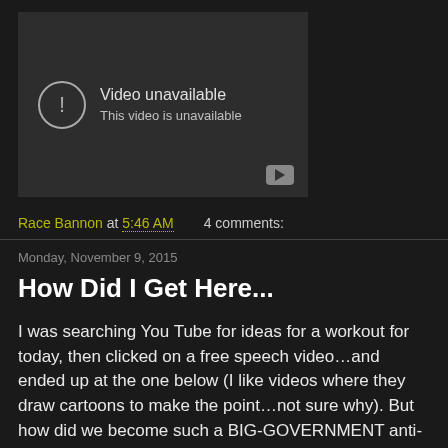[Figure (screenshot): Embedded video player showing 'Video unavailable. This video is unavailable.' message on a dark gray background with a YouTube logo button in the bottom right corner.]
Race Bannon at 5:46 AM    4 comments:
Monday, November 9, 2015
How Did I Get Here...
I was searching You Tube for ideas for a workout for today, then clicked on a free speech video…and ended up at the one below (I like videos where they draw cartoons to make the point…not sure why).  But how did we become such a BIG-GOVERNMENT anti-entrepreneur country? Who are these people that pass these laws?  We should have a law against passing bad laws.